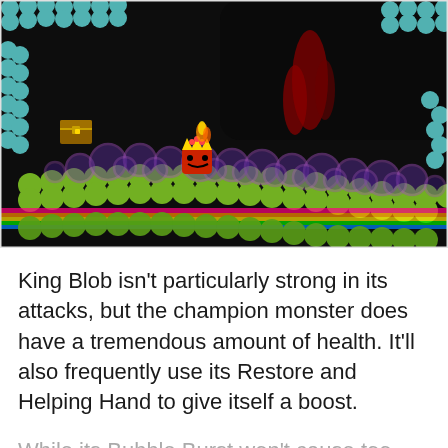[Figure (screenshot): A pixel-art game screenshot showing King Blob, a red crowned monster character, standing on a platform covered in green and teal blob tiles. Purple bubble orbs line the terrain. A dark cave opening is visible in the upper right. A treasure chest is visible in the upper left.]
King Blob isn't particularly strong in its attacks, but the champion monster does have a tremendous amount of health. It'll also frequently use its Restore and Helping Hand to give itself a boost.
While its Bubble Burst won't cause too many problems against monsters who aren't weak